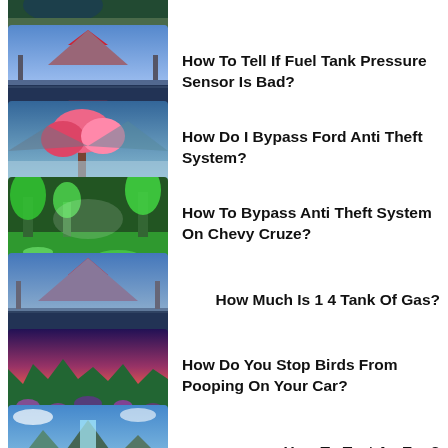[Figure (photo): Partial thumbnail of a nature/landscape image at top]
How To Tell If Fuel Tank Pressure Sensor Is Bad?
How Do I Bypass Ford Anti Theft System?
How To Bypass Anti Theft System On Chevy Cruze?
How Much Is 1 4 Tank Of Gas?
How Do You Stop Birds From Pooping On Your Car?
How To Test An Ecu?